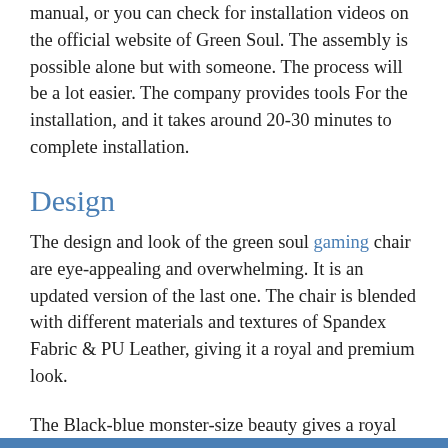manual, or you can check for installation videos on the official website of Green Soul. The assembly is possible alone but with someone. The process will be a lot easier. The company provides tools For the installation, and it takes around 20-30 minutes to complete installation.
Design
The design and look of the green soul gaming chair are eye-appealing and overwhelming. It is an updated version of the last one. The chair is blended with different materials and textures of Spandex Fabric & PU Leather, giving it a royal and premium look.
The Black-blue monster-size beauty gives a royal look, plus you can get it in other colors according to your room decor as well.